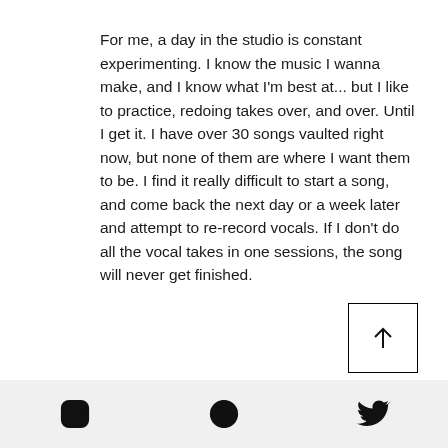For me, a day in the studio is constant experimenting. I know the music I wanna make, and I know what I'm best at... but I like to practice, redoing takes over, and over. Until I get it. I have over 30 songs vaulted right now, but none of them are where I want them to be. I find it really difficult to start a song, and come back the next day or a week later and attempt to re-record vocals. If I don't do all the vocal takes in one sessions, the song will never get finished.
What can we expect for the
[Figure (other): Scroll-to-top button: a square with an upward arrow icon]
Social media icons: Instagram, Globe/Web, Twitter